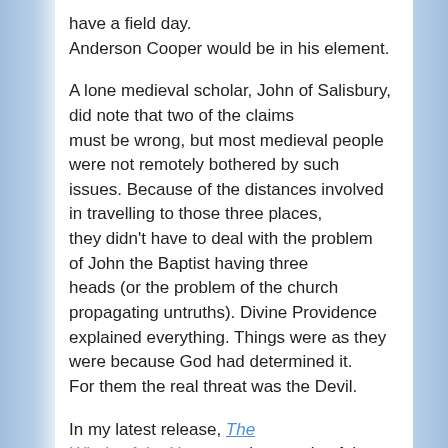have a field day.
Anderson Cooper would be in his element.

A lone medieval scholar, John of Salisbury, did note that two of the claims must be wrong, but most medieval people were not remotely bothered by such issues. Because of the distances involved in travelling to those three places, they didn't have to deal with the problem of John the Baptist having three heads (or the problem of the church propagating untruths). Divine Providence explained everything. Things were as they were because God had determined it. For them the real threat was the Devil.

In my latest release, The Winds of the Heavens, the people of the Welsh village of